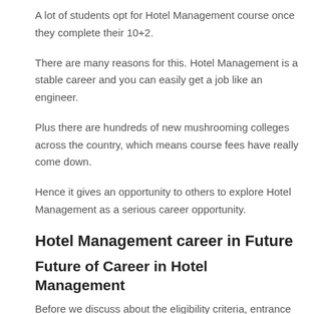A lot of students opt for Hotel Management course once they complete their 10+2.
There are many reasons for this. Hotel Management is a stable career and you can easily get a job like an engineer.
Plus there are hundreds of new mushrooming colleges across the country, which means course fees have really come down.
Hence it gives an opportunity to others to explore Hotel Management as a serious career opportunity.
Hotel Management career in Future
Future of Career in Hotel Management
Before we discuss about the eligibility criteria, entrance exam, fee structure, type of courses etc., we need to talk about the future of